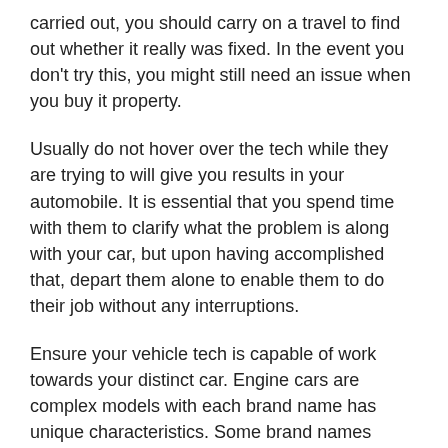carried out, you should carry on a travel to find out whether it really was fixed. In the event you don't try this, you might still need an issue when you buy it property.
Usually do not hover over the tech while they are trying to will give you results in your automobile. It is essential that you spend time with them to clarify what the problem is along with your car, but upon having accomplished that, depart them alone to enable them to do their job without any interruptions.
Ensure your vehicle tech is capable of work towards your distinct car. Engine cars are complex models with each brand name has unique characteristics. Some brand names require special resources, pieces, and operations. Numerous normal automobile professionals sometimes absence these products or dont get them readily available. Without having these things, they can't repair your automobile.